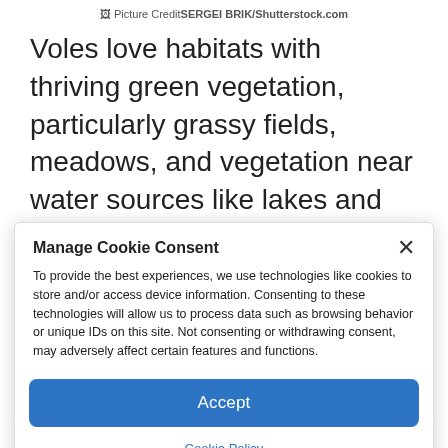Picture CreditSERGEI BRIK/Shutterstock.com
Voles love habitats with thriving green vegetation, particularly grassy fields, meadows, and vegetation near water sources like lakes and rivers. Voles are different from gophers in that they spend
Manage Cookie Consent
To provide the best experiences, we use technologies like cookies to store and/or access device information. Consenting to these technologies will allow us to process data such as browsing behavior or unique IDs on this site. Not consenting or withdrawing consent, may adversely affect certain features and functions.
Accept
Cookie Policy